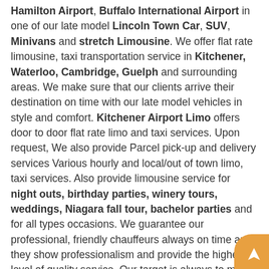Hamilton Airport, Buffalo International Airport in one of our late model Lincoln Town Car, SUV, Minivans and stretch Limousine. We offer flat rate limousine, taxi transportation service in Kitchener, Waterloo, Cambridge, Guelph and surrounding areas. We make sure that our clients arrive their destination on time with our late model vehicles in style and comfort. Kitchener Airport Limo offers door to door flat rate limo and taxi services. Upon request, We also provide Parcel pick-up and delivery services Various hourly and local/out of town limo, taxi services. Also provide limousine service for night outs, birthday parties, winery tours, weddings, Niagara fall tour, bachelor parties and for all types occasions. We guarantee our professional, friendly chauffeurs always on time and they show professionalism and provide the highest level of quality service. Our target is always to make our clients happy and satisfy. We never compromise on our standards. Our chauffeurs...